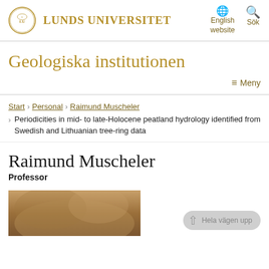Lunds Universitet — English website | Sök
Geologiska institutionen
≡ Meny
Start › Personal › Raimund Muscheler › Periodicities in mid- to late-Holocene peatland hydrology identified from Swedish and Lithuanian tree-ring data
Raimund Muscheler
Professor
[Figure (photo): Portrait photo of Raimund Muscheler, partially visible (top of head with brown hair)]
Hela vägen upp